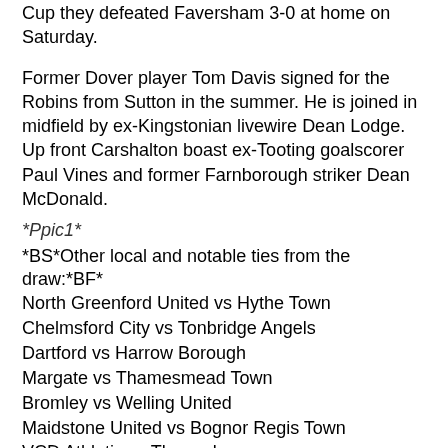Cup they defeated Faversham 3-0 at home on Saturday.
Former Dover player Tom Davis signed for the Robins from Sutton in the summer. He is joined in midfield by ex-Kingstonian livewire Dean Lodge. Up front Carshalton boast ex-Tooting goalscorer Paul Vines and former Farnborough striker Dean McDonald.
*Ppic1*
*BS*Other local and notable ties from the draw:*BF*
North Greenford United vs Hythe Town
Chelmsford City vs Tonbridge Angels
Dartford vs Harrow Borough
Margate vs Thamesmead Town
Bromley vs Welling United
Maidstone United vs Bognor Regis Town
VCD Athletic vs Thurrock
Havant & Waterlooville vs Sholing
Dorchester Town vs Weston Super Mare
Chippenham Town vs Woking